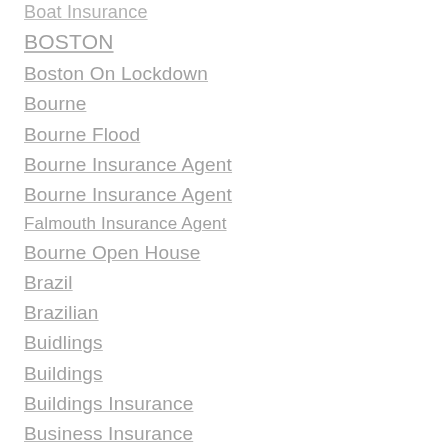Boat Insurance
BOSTON
Boston On Lockdown
Bourne
Bourne Flood
Bourne Insurance Agent
Bourne Insurance Agent
Falmouth Insurance Agent
Bourne Open House
Brazil
Brazilian
Buidlings
Buildings
Buildings Insurance
Business Insurance
Businnes Insurance
Cabinet Refinishing
Calfee
Calfee Insurance